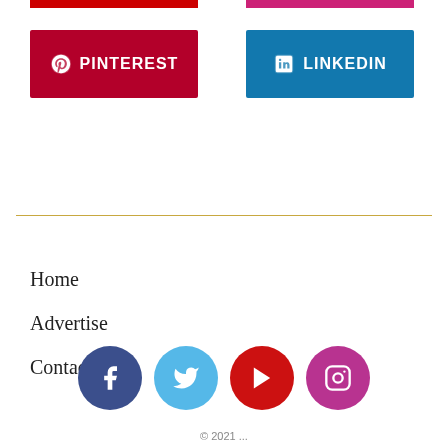[Figure (other): Red top bar accent for Pinterest section]
[Figure (other): Pink top bar accent for LinkedIn section]
[Figure (other): Pinterest social media button (dark red)]
[Figure (other): LinkedIn social media button (blue)]
Home
Advertise
Contact Us
[Figure (other): Social media icons row: Facebook, Twitter, YouTube, Instagram]
© 2021 ...